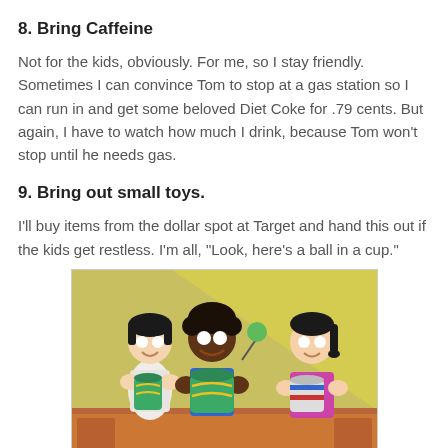8. Bring Caffeine
Not for the kids, obviously. For me, so I stay friendly. Sometimes I can convince Tom to stop at a gas station so I can run in and get some beloved Diet Coke for .79 cents. But again, I have to watch how much I drink, because Tom won't stop until he needs gas.
9. Bring out small toys.
I'll buy items from the dollar spot at Target and hand this out if the kids get restless. I'm all, "Look, here's a ball in a cup."
[Figure (illustration): Cartoon illustration showing three animated children holding small toys (cups/balls). The middle child has dark skin and curly hair holding a green cup. The left child appears lighter-skinned holding a green cup. The right child is a girl with dark hair holding what appears to be a cup. Background is a yellow-green and orange room.]